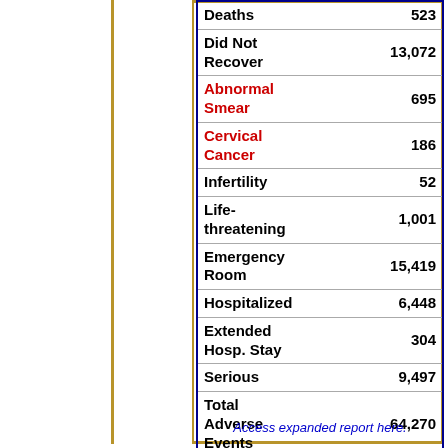| Category | Count |
| --- | --- |
| Deaths | 523 |
| Did Not Recover | 13,072 |
| Abnormal Smear | 695 |
| Cervical Cancer | 186 |
| Infertility | 52 |
| Life-threatening | 1,001 |
| Emergency Room | 15,419 |
| Hospitalized | 6,448 |
| Extended Hosp. Stay | 304 |
| Serious | 9,497 |
| Total Adverse Events | 64,270 |
Access expanded report here.